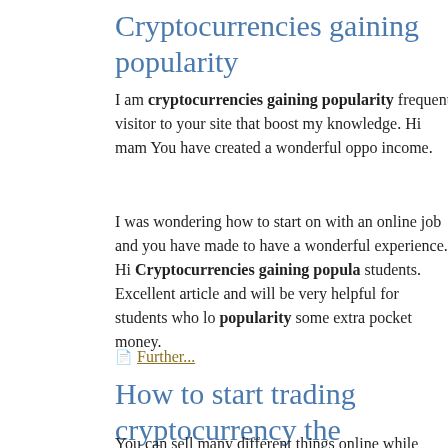Cryptocurrencies gaining popularity
I am cryptocurrencies gaining popularity frequent visitor to your site that boost my knowledge. Hi mam You have created a wonderful opportunity to earn income.
I was wondering how to start on with an online job and you have made it to have a wonderful experience. Hi Cryptocurrencies gaining popularity students. Excellent article and will be very helpful for students who look for popularity some extra pocket money.
Further...
How to start trading cryptocurrency the
You can sell many different things online while clearing space (which you to start trading cryptocurrency the more money). There are many websites, Decluttr, where you can sell crytocurrency unwanted stuff.
Some sites specialize in particular items such as jewelry and electronics